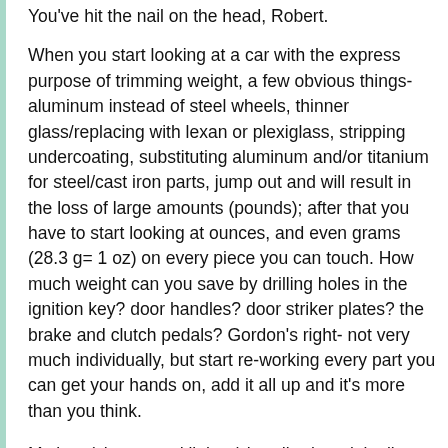You've hit the nail on the head, Robert.
When you start looking at a car with the express purpose of trimming weight, a few obvious things- aluminum instead of steel wheels, thinner glass/replacing with lexan or plexiglass, stripping undercoating, substituting aluminum and/or titanium for steel/cast iron parts, jump out and will result in the loss of large amounts (pounds); after that you have to start looking at ounces, and even grams (28.3 g= 1 oz) on every piece you can touch. How much weight can you save by drilling holes in the ignition key? door handles? door striker plates? the brake and clutch pedals? Gordon's right- not very much individually, but start re-working every part you can get your hands on, add it all up and it's more than you think.
My late (shorter and lighter) handbrake originally weighed 357 grams, the ratchet plate (a bitch to drill, as it's surface hardened like a lot of transaxle parts; be